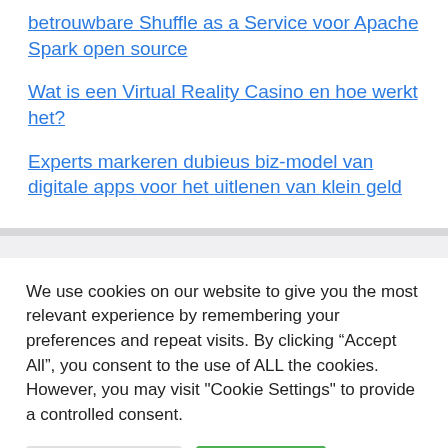betrouwbare Shuffle as a Service voor Apache Spark open source
Wat is een Virtual Reality Casino en hoe werkt het?
Experts markeren dubieus biz-model van digitale apps voor het uitlenen van klein geld
We use cookies on our website to give you the most relevant experience by remembering your preferences and repeat visits. By clicking “Accept All”, you consent to the use of ALL the cookies. However, you may visit "Cookie Settings" to provide a controlled consent.
Cookie Settings | Accept All